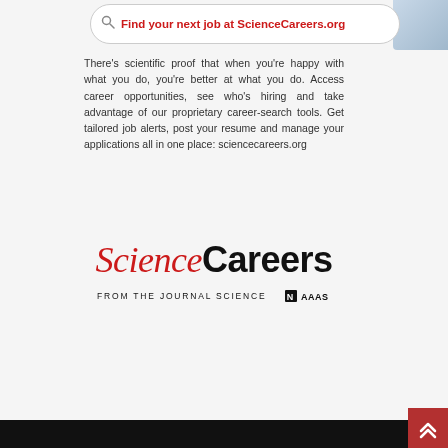[Figure (other): Search bar with red bold text: Find your next job at ScienceCareers.org, with a search/magnifying glass icon, on a white rounded rectangle with border]
There’s scientific proof that when you’re happy with what you do, you’re better at what you do. Access career opportunities, see who’s hiring and take advantage of our proprietary career-search tools. Get tailored job alerts, post your resume and manage your applications all in one place: sciencecareers.org
[Figure (logo): ScienceCareers logo: 'Science' in red italic serif font and 'Careers' in bold black sans-serif, followed by 'FROM THE JOURNAL SCIENCE' and AAAS logo mark]